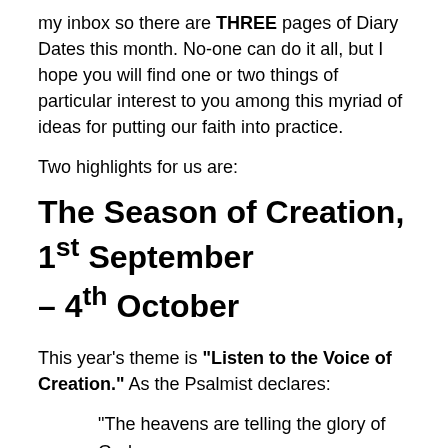my inbox so there are THREE pages of Diary Dates this month. No-one can do it all, but I hope you will find one or two things of particular interest to you among this myriad of ideas for putting our faith into practice.
Two highlights for us are:
The Season of Creation, 1st September – 4th October
This year's theme is "Listen to the Voice of Creation." As the Psalmist declares:
"The heavens are telling the glory of God; and the firmament proclaims God's handiwork. Day to day pours forth speech, and night to night declares